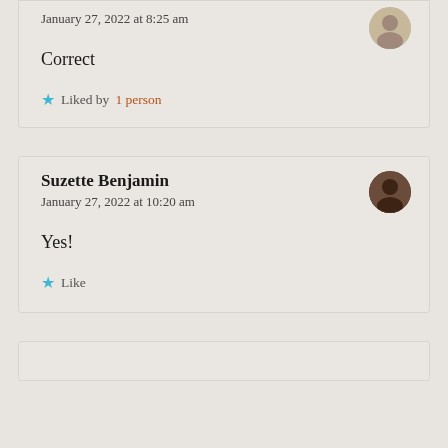January 27, 2022 at 8:25 am
Correct
★ Liked by 1 person
Suzette Benjamin
January 27, 2022 at 10:20 am
Yes!
★ Like